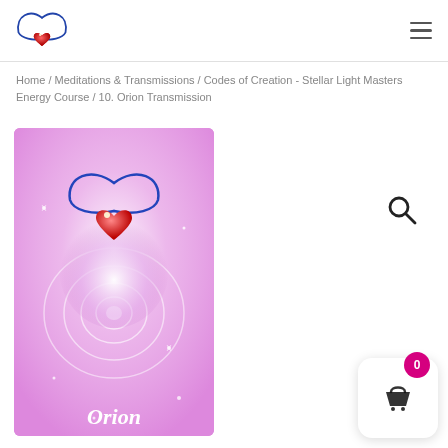Logo and navigation menu
Home / Meditations & Transmissions / Codes of Creation - Stellar Light Masters Energy Course / 10. Orion Transmission
[Figure (illustration): Product image with pink/purple swirling background featuring a logo of a heart with angel wings, and italic text 'Orion' at the bottom]